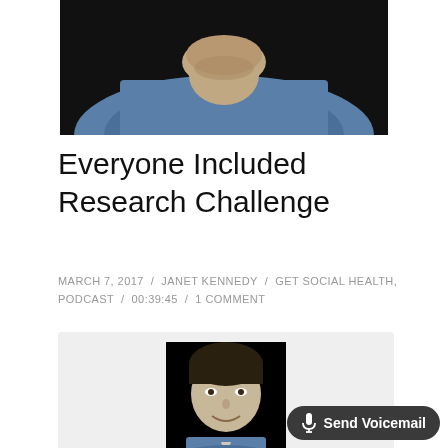[Figure (photo): Cropped photo showing lower face and torso of a person wearing a blue checkered shirt, against a dark background. Only chin/neck and upper chest visible.]
Everyone Included Research Challenge
MARCH 7, 2017 / JANET KENNEDY / GET SOCIAL HEALTH, PODCAST / 00:39:45 / 1 COMMENT
[Figure (photo): Headshot photo of a smiling young man with dark hair wearing a blue shirt, against a black background.]
Janet Kennedy with Audrey Hansen
Everyone Included Rese...
[Figure (other): Send Voicemail button overlay in bottom right corner]